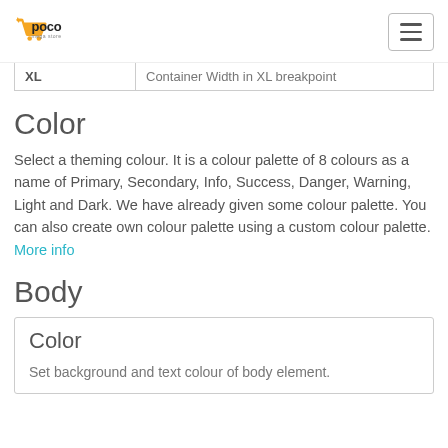poco mega store
| XL | Container Width in XL breakpoint |
Color
Select a theming colour. It is a colour palette of 8 colours as a name of Primary, Secondary, Info, Success, Danger, Warning, Light and Dark. We have already given some colour palette. You can also create own colour palette using a custom colour palette. More info
Body
Color
Set background and text colour of body element.